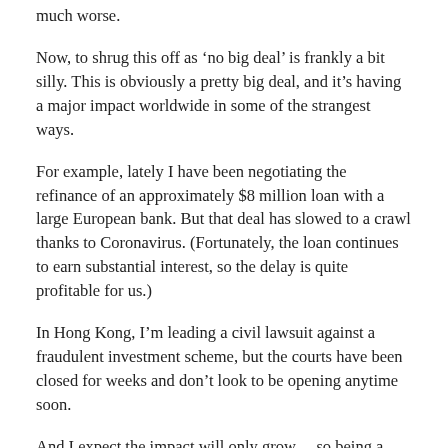much worse.
Now, to shrug this off as ‘no big deal’ is frankly a bit silly. This is obviously a pretty big deal, and it’s having a major impact worldwide in some of the strangest ways.
For example, lately I have been negotiating the refinance of an approximately $8 million loan with a large European bank. But that deal has slowed to a crawl thanks to Coronavirus. (Fortunately, the loan continues to earn substantial interest, so the delay is quite profitable for us.)
In Hong Kong, I’m leading a civil lawsuit against a fraudulent investment scheme, but the courts have been closed for weeks and don’t look to be opening anytime soon.
And I expect the impact will only grow… so being a little bit nervous about this does not make you paranoid.
But just remember that, as human beings, we generally make